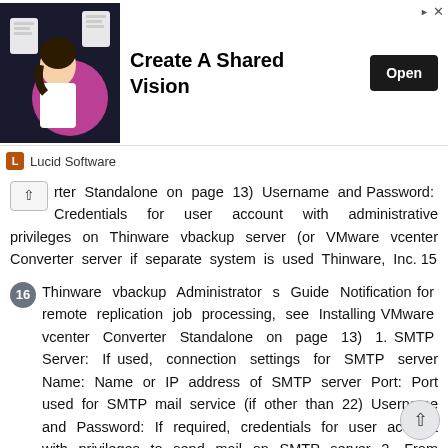[Figure (other): Advertisement banner for Lucid Software with dark background image, headline 'Create A Shared Vision', an Open button, and Lucid Software logo footer]
rter Standalone on page 13) Username and Password: Credentials for user account with administrative privileges on Thinware vbackup server (or VMware vcenter Converter server if separate system is used Thinware, Inc. 15
16 Thinware vbackup Administrator s Guide Notification for remote replication job processing, see Installing VMware vcenter Converter Standalone on page 13) 1. SMTP Server: If used, connection settings for SMTP server Name: Name or IP address of SMTP server Port: Port used for SMTP mail service (if other than 22) Username and Password: If required, credentials for user account with privileges to send mail on SMTP server 2. From Address: address used for Thinware vbackup notifications 3. Notification Recipients: One or more addresses to send Thinware vbackup notifications to Client Preferences 1. Auto Refresh Interval: Interval (in seconds) for automatic